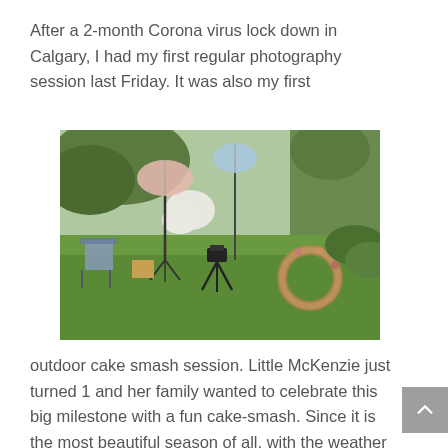After a 2-month Corona virus lock down in Calgary, I had my first regular photography session last Friday. It was also my first
[Figure (photo): Outdoor photography session setup on a green lawn. Camera on a tripod in the foreground, photography umbrellas/reflectors on stands, a chair to the left, and floral wreath decoration to the right, with trees and bushes in the background.]
outdoor cake smash session. Little McKenzie just turned 1 and her family wanted to celebrate this big milestone with a fun cake-smash. Since it is the most beautiful season of all, with the weather